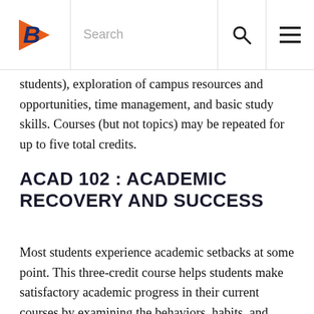Boise State University navigation header with logo, search bar, and menu icon
students), exploration of campus resources and opportunities, time management, and basic study skills. Courses (but not topics) may be repeated for up to five total credits.
ACAD 102 : ACADEMIC RECOVERY AND SUCCESS
Most students experience academic setbacks at some point. This three-credit course helps students make satisfactory academic progress in their current courses by examining the behaviors, habits, and mindset associated with academic success. Students will focus on goal setting, motivation, academic skill building, and time management skills needed to achieve their educational and personal goals.